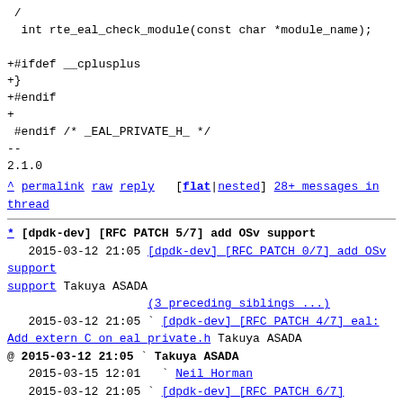/
 int rte_eal_check_module(const char *module_name);

+#ifdef __cplusplus
+}
+#endif
+
 #endif /* _EAL_PRIVATE_H_ */
--
2.1.0
^ permalink raw reply [flat|nested] 28+ messages in thread
* [dpdk-dev] [RFC PATCH 5/7] add OSv support
   2015-03-12 21:05 [dpdk-dev] [RFC PATCH 0/7] add OSv support Takuya ASADA
                    (3 preceding siblings ...)
   2015-03-12 21:05 ` [dpdk-dev] [RFC PATCH 4/7] eal: Add extern C on eal_private.h Takuya ASADA
@ 2015-03-12 21:05 ` Takuya ASADA
   2015-03-15 12:01   ` Neil Horman
   2015-03-12 21:05 ` [dpdk-dev] [RFC PATCH 6/7] virtio: enable MSI-X on OSv Takuya ASADA
                    (4 subsequent siblings)
   9 siblings, 1 reply; 28+ messages in thread
From: Takuya ASADA @ 2015-03-12 21:05 UTC (permalink / raw)
  To: dev